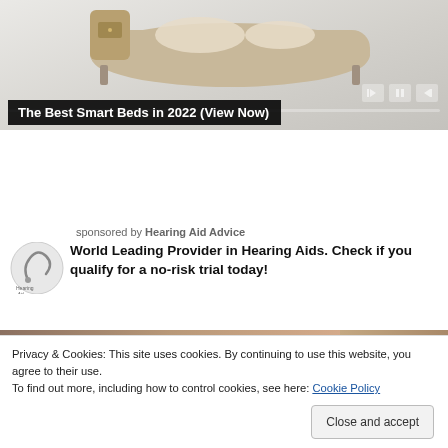[Figure (screenshot): Advertisement banner showing a smart bed product image with playback controls and progress bar]
The Best Smart Beds in 2022 (View Now)
sponsored by Hearing Aid Advice
[Figure (logo): Hearing Aid Advice logo — circular icon with antenna graphic]
World Leading Provider in Hearing Aids. Check if you qualify for a no-risk trial today!
[Figure (photo): Partial photo strip of people, partially obscured by cookie banner]
Privacy & Cookies: This site uses cookies. By continuing to use this website, you agree to their use.
To find out more, including how to control cookies, see here: Cookie Policy
Close and accept
[Figure (photo): Bottom strip showing partially visible colorful images]